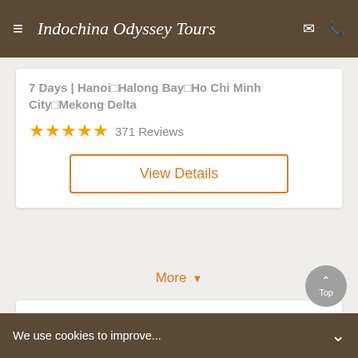Indochina Odyssey Tours
7 Days | Hanoi⊡Halong Bay⊡Ho Chi Minh City⊡Mekong Delta
★★★★★ 371 Reviews
View Details
More ▼
[Figure (illustration): Customer support headset icon: dark circular headset shape with orange ear cups and orange microphone arm on light background]
We use cookies to improve...